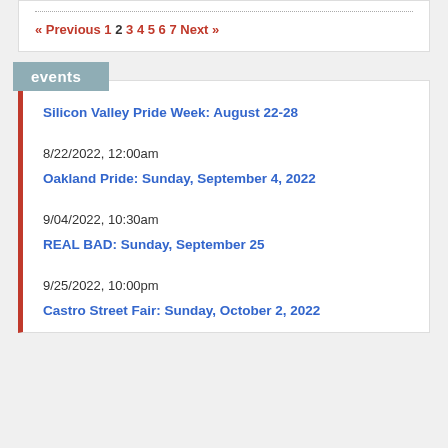« Previous 1 2 3 4 5 6 7 Next »
events
Silicon Valley Pride Week: August 22-28
8/22/2022, 12:00am
Oakland Pride: Sunday, September 4, 2022
9/04/2022, 10:30am
REAL BAD: Sunday, September 25
9/25/2022, 10:00pm
Castro Street Fair: Sunday, October 2, 2022